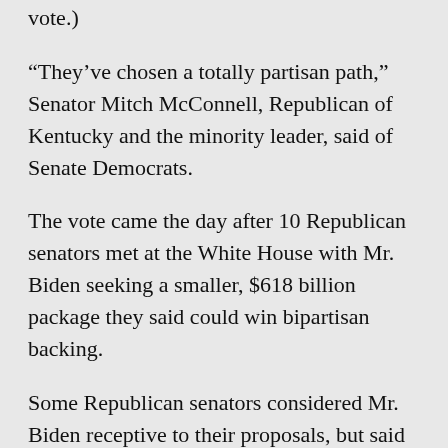vote.)
“They’ve chosen a totally partisan path,” Senator Mitch McConnell, Republican of Kentucky and the minority leader, said of Senate Democrats.
The vote came the day after 10 Republican senators met at the White House with Mr. Biden seeking a smaller, $618 billion package they said could win bipartisan backing.
Some Republican senators considered Mr. Biden receptive to their proposals, but said his chief of staff, Ron Klain, shook his head dismissively during the Republicans’ presentation, according to a participant in the meeting.
Senate Democrats could approve the budget